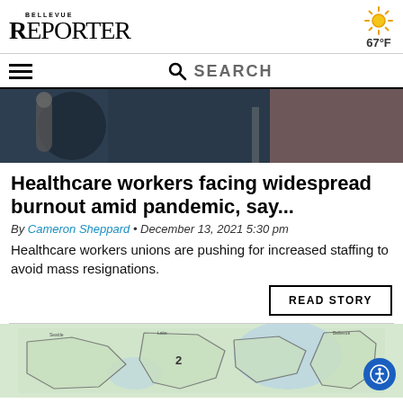BELLEVUE REPORTER
[Figure (screenshot): Weather icon showing sun with temperature 67°F]
[Figure (screenshot): Navigation bar with hamburger menu and search bar]
[Figure (photo): Hero image showing close-up of medical stethoscope and healthcare worker in dark clothing]
Healthcare workers facing widespread burnout amid pandemic, say...
By Cameron Sheppard • December 13, 2021 5:30 pm
Healthcare workers unions are pushing for increased staffing to avoid mass resignations.
READ STORY
[Figure (map): Map showing geographic districts in the Seattle/Bellevue area with district number 2 labeled, with accessibility button overlay]